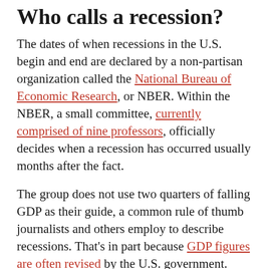Who calls a recession?
The dates of when recessions in the U.S. begin and end are declared by a non-partisan organization called the National Bureau of Economic Research, or NBER. Within the NBER, a small committee, currently comprised of nine professors, officially decides when a recession has occurred usually months after the fact.
The group does not use two quarters of falling GDP as their guide, a common rule of thumb journalists and others employ to describe recessions. That’s in part because GDP figures are often revised by the U.S. government. Deciding when a country is or is not in a recession based on numbers that are constantly moving is not sensible